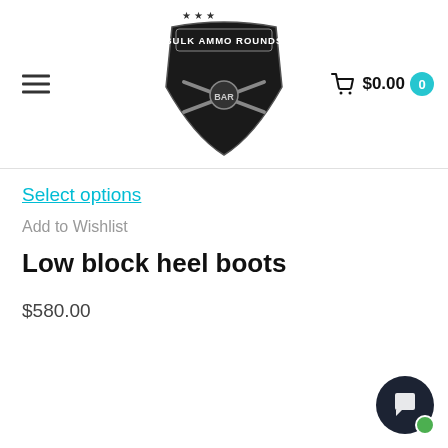Bulk Ammo Rounds — $0.00 cart
Select options
Add to Wishlist
Low block heel boots
$580.00